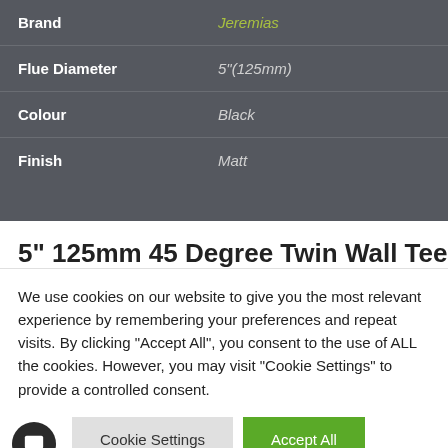| Attribute | Value |
| --- | --- |
| Brand | Jeremias |
| Flue Diameter | 5"(125mm) |
| Colour | Black |
| Finish | Matt |
5" 125mm 45 Degree Twin Wall Tee
We use cookies on our website to give you the most relevant experience by remembering your preferences and repeat visits. By clicking “Accept All”, you consent to the use of ALL the cookies. However, you may visit "Cookie Settings" to provide a controlled consent.